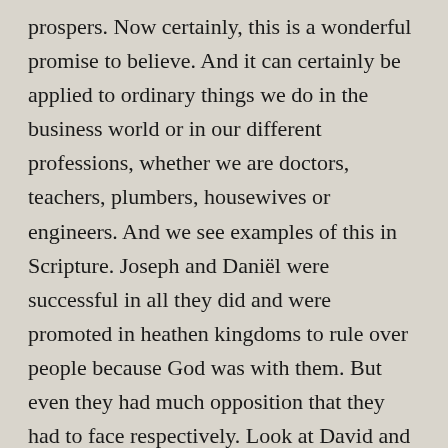prospers. Now certainly, this is a wonderful promise to believe. And it can certainly be applied to ordinary things we do in the business world or in our different professions, whether we are doctors, teachers, plumbers, housewives or engineers. And we see examples of this in Scripture. Joseph and Daniël were successful in all they did and were promoted in heathen kingdoms to rule over people because God was with them. But even they had much opposition that they had to face respectively. Look at David and Paul the apostle, David was a successful king and Paul was a successful church planter, but that didn't mean they didn't face much opposition and persecution because they abided in Christ and in his word.